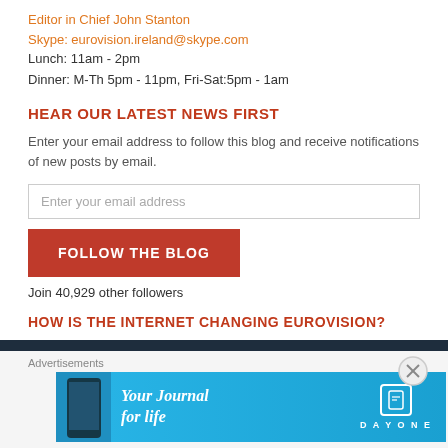Editor in Chief John Stanton
Skype: eurovision.ireland@skype.com
Lunch: 11am - 2pm
Dinner: M-Th 5pm - 11pm, Fri-Sat:5pm - 1am
HEAR OUR LATEST NEWS FIRST
Enter your email address to follow this blog and receive notifications of new posts by email.
Enter your email address
FOLLOW THE BLOG
Join 40,929 other followers
HOW IS THE INTERNET CHANGING EUROVISION?
Advertisements
[Figure (other): Day One app advertisement banner with 'Your Journal for life' text and app icon]